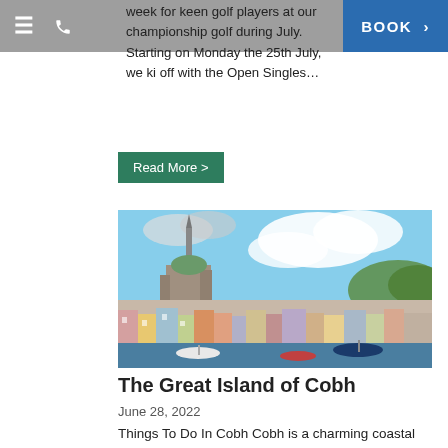≡  📞  BOOK >
week for keen golf players at our championship golf during July. Starting on Monday the 25th July, we kicked off with the Open Singles…
Read More >
[Figure (photo): Aerial view of Cobh, Ireland, showing the cathedral spire, colourful waterfront buildings, and harbour with boats, under a partly cloudy blue sky.]
The Great Island of Cobh
June 28, 2022
Things To Do In Cobh Cobh is a charming coastal town near Cork city, famous for its beautiful streets with a unique Irish